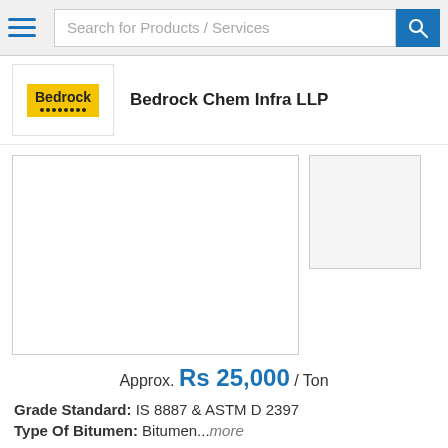Search for Products / Services
Bedrock Chem Infra LLP
[Figure (photo): Product image placeholder (main) and thumbnail placeholder]
Approx. Rs 25,000 / Ton
Grade Standard: IS 8887 & ASTM D 2397
Type Of Bitumen: Bitumen...more
[Figure (other): Get Best Price button with handshake icon]
[Figure (other): Call Us button with phone icon]
SS2 Emulsion